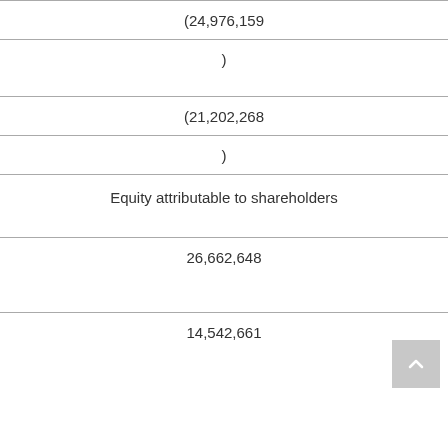| (24,976,159 |
| ) |
|  |
| (21,202,268 |
| ) |
| Equity attributable to shareholders |
|  |
| 26,662,648 |
|  |
|  |
| 14,542,661 |